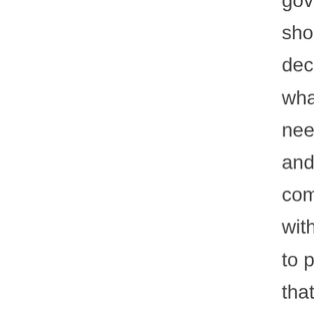government should decide what it needs to do and then come up with a way to pay for it, that is not what Democrats are doing. Rather, they are figuring out how much they want to spend first. Actually, it's not how much they